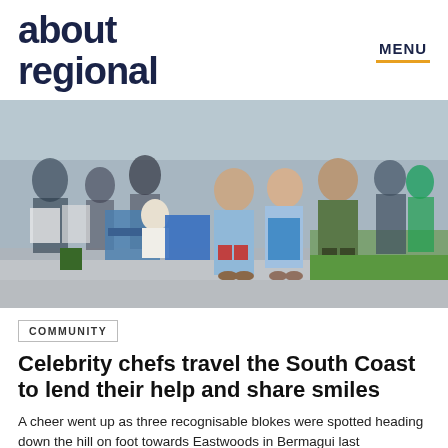about regional
[Figure (photo): Group of people standing and sitting outdoors at a community event, with some in aprons and casual clothes, crowd visible in background, green grass and pavement]
COMMUNITY
Celebrity chefs travel the South Coast to lend their help and share smiles
A cheer went up as three recognisable blokes were spotted heading down the hill on foot towards Eastwoods in Bermagui last Wednesday evening. Hundreds of locals had set up at tables and on rugs, arriving at